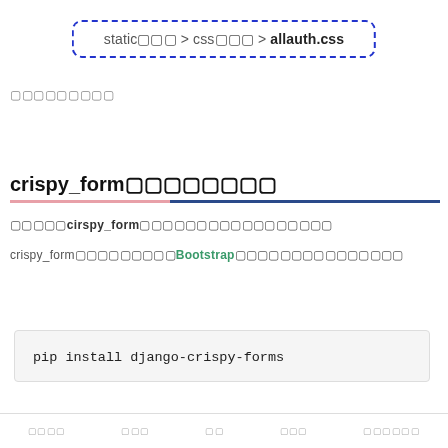[Figure (infographic): Dashed blue rounded rectangle containing path: static□□□ > css□□□ > allauth.css]
□□□□□□□□□
crispy_form□□□□□□□□
□□□□□cirspy_form□□□□□□□□□□□□□□□□□
crispy_form□□□□□□□□□□□Bootstrap□□□□□□□□□□□□□□□□□
pip install django-crispy-forms
□□□□  □□  □□  □□□  □□□□□□